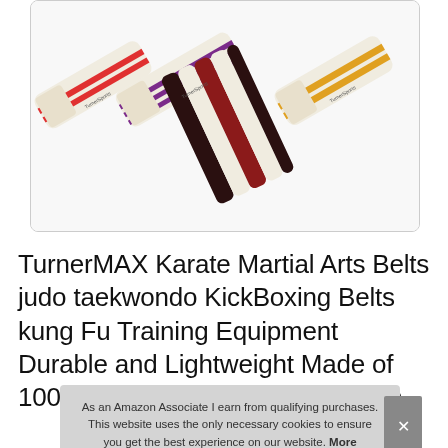[Figure (photo): Four TurnerMAX martial arts belts rolled up and displayed diagonally: red/white stripe, purple/white, dark brown/maroon, and yellow/white stripe]
TurnerMAX Karate Martial Arts Belts judo taekwondo KickBoxing Belts kung Fu Training Equipment Durable and Lightweight Made of 100% Cotton Brown/White 240cm
As an Amazon Associate I earn from qualifying purchases. This website uses the only necessary cookies to ensure you get the best experience on our website. More information